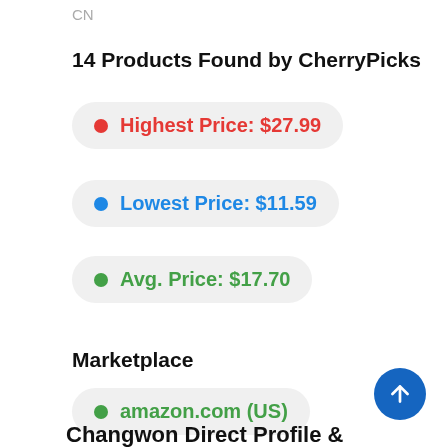CN
14 Products Found by CherryPicks
Highest Price: $27.99
Lowest Price: $11.59
Avg. Price: $17.70
Marketplace
amazon.com (US)
Changwon Direct Profile &